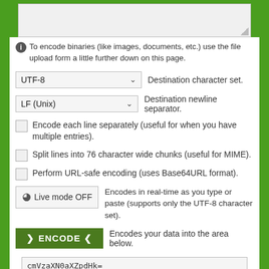[Figure (screenshot): Text input textarea (top, partially visible, light gray background with resize handle)]
To encode binaries (like images, documents, etc.) use the file upload form a little further down on this page.
[Figure (screenshot): Dropdown selector showing UTF-8 with label: Destination character set.]
[Figure (screenshot): Dropdown selector showing LF (Unix) with label: Destination newline separator.]
Encode each line separately (useful for when you have multiple entries).
Split lines into 76 character wide chunks (useful for MIME).
Perform URL-safe encoding (uses Base64URL format).
Live mode OFF   Encodes in real-time as you type or paste (supports only the UTF-8 character set).
> ENCODE <   Encodes your data into the area below.
cmVzaXN0aXZpdHk=